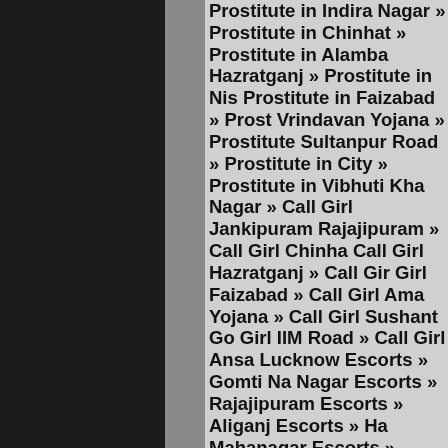Prostitute in Indira Nagar » Prostitute in Chinhat » Prostitute in Alambagh » Prostitute in Hazratganj » Prostitute in Nishatganj » Prostitute in Faizabad » Prostitute in Vrindavan Yojana » Prostitute in Sultanpur Road » Prostitute in Amar Shaheed City » Prostitute in Vibhuti Khand » Prostitute in Nagar » Call Girl Jankipuram » Call Girl Rajajipuram » Call Girl Chinhat » Call Girl Hazratganj » Call Girl Faizabad » Call Girl Amar Shaheed Yojana » Call Girl Sushant Golf City » Call Girl IIM Road » Call Girl Ansari Nagar » Lucknow Escorts » Gomti Nagar Escorts » Nagar Escorts » Rajajipuram Escorts » Chinhat Escorts » Aliganj Escorts » Hazratganj » Mahanagar Escorts » Faizabad Escorts » Vrindavan Yojana Escorts » Sultanpur Road Escorts » IIM Road Escorts » Vibhuti Khand Escorts » Lucknow Escort Service » Jankipuram Escort Service » Rajajipuram Escort Service » Chinhat Escort Service » Aliganj Escort Service » Nishatganj Escort Service » Mahanagar Escort Service » Amar Shaheed Yojana Escort Service » Sushant Golf City Yojana Escort Service » Sultanpur Road Escort Service » IIM Road Escort Service » Vibhuti Khand Escort Service » Gomti Nagar Call Girls » Jankipuram Call Girls » Rajajipuram Call Girls » Chinhat Aliganj Call Girls » Hazratgan